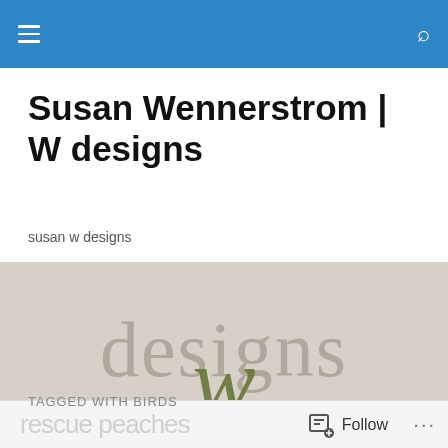Susan Wennerstrom | W designs
susan w designs
[Figure (logo): W designs logo on a light grey/beige background. The word 'designs' is shown in a thin, elegant font with a large stylized handwritten 'w' overlapping the letters, in an olive/dark green color.]
TAGGED WITH BIRDS
rescue peaches   Follow   ...